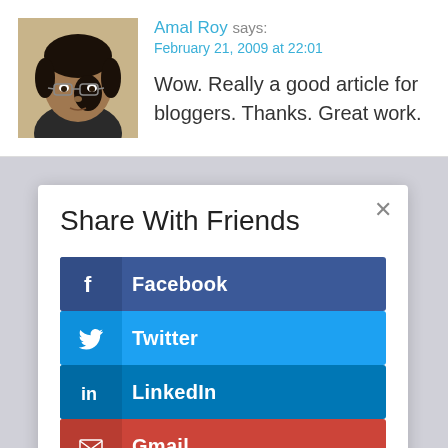[Figure (photo): Portrait photo of Amal Roy, a young man wearing glasses]
Amal Roy says:
February 21, 2009 at 22:01
Wow. Really a good article for bloggers. Thanks. Great work.
Share With Friends
Facebook
Twitter
LinkedIn
Gmail